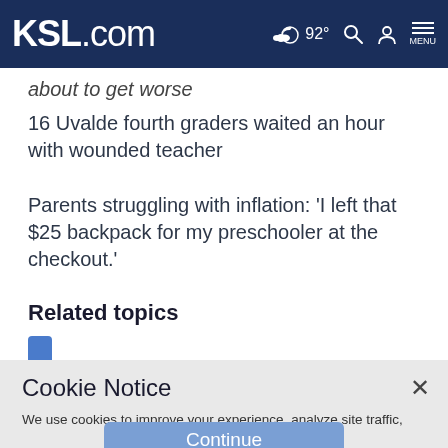KSL.com  92°  MENU
about to get worse
16 Uvalde fourth graders waited an hour with wounded teacher
Parents struggling with inflation: 'I left that $25 backpack for my preschooler at the checkout.'
Related topics
Cookie Notice
We use cookies to improve your experience, analyze site traffic, and to personalize content and ads. By continuing to use our site, you consent to our use of cookies. Please visit our Terms of Use and Privacy Policy for more information.
Continue